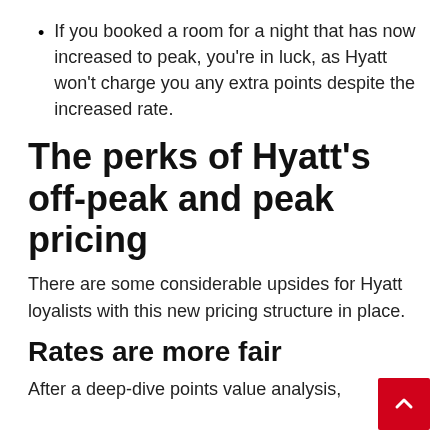If you booked a room for a night that has now increased to peak, you're in luck, as Hyatt won't charge you any extra points despite the increased rate.
The perks of Hyatt's off-peak and peak pricing
There are some considerable upsides for Hyatt loyalists with this new pricing structure in place.
Rates are more fair
After a deep-dive points value analysis,